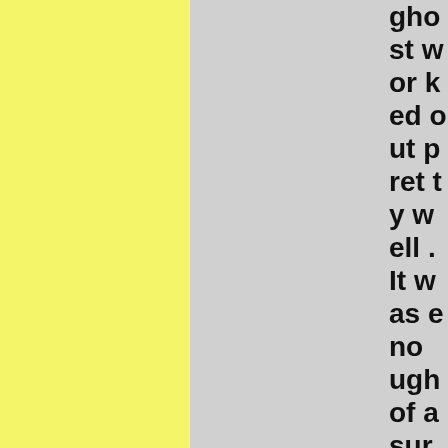ghostworked out pretty well. It was enough of a surprise to keep my attention. I got